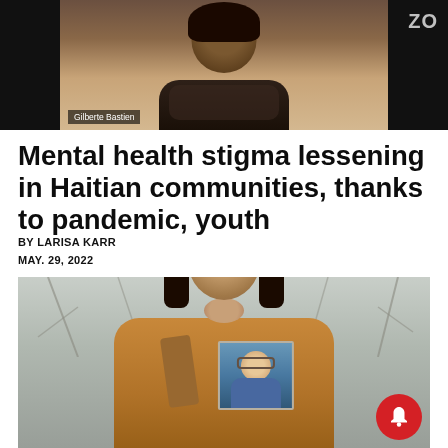[Figure (screenshot): Screenshot of a Zoom video call showing a person named Gilberte Bastien with the Zoom logo visible in the top right corner]
Mental health stigma lessening in Haitian communities, thanks to pandemic, youth
BY LARISA KARR
MAY. 29, 2022
[Figure (photo): A woman with curly dark hair wearing a tan/brown coat, looking upward while holding a framed photograph of an older man, with bare tree branches visible in the background]